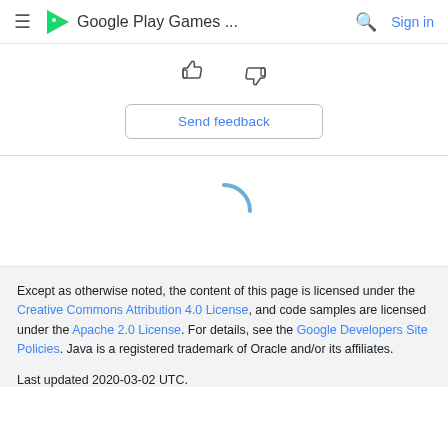Google Play Games ...
[Figure (screenshot): Thumbs up and thumbs down feedback icons]
Send feedback
[Figure (other): Loading spinner arc in blue]
Except as otherwise noted, the content of this page is licensed under the Creative Commons Attribution 4.0 License, and code samples are licensed under the Apache 2.0 License. For details, see the Google Developers Site Policies. Java is a registered trademark of Oracle and/or its affiliates.
Last updated 2020-03-02 UTC.